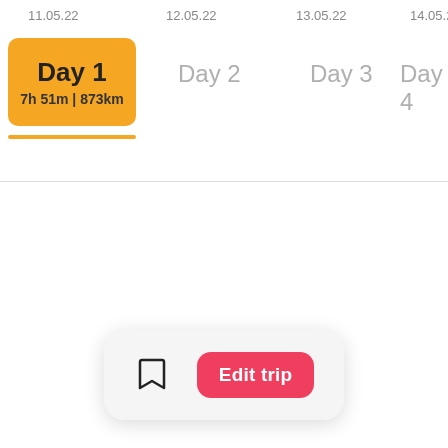11.05.22    12.05.22    13.05.22    14.05.22
Day 1
7h 51m | 873km
Day 2
Day 3
Day 4
Edit trip